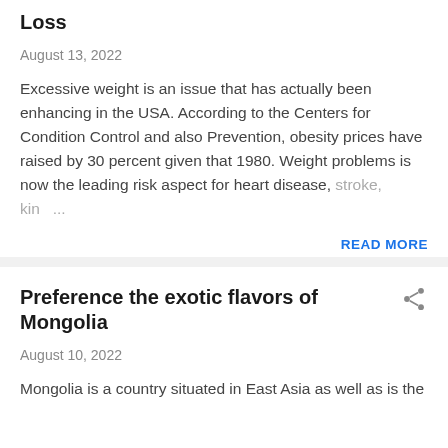Loss
August 13, 2022
Excessive weight is an issue that has actually been enhancing in the USA. According to the Centers for Condition Control and also Prevention, obesity prices have raised by 30 percent given that 1980. Weight problems is now the leading risk aspect for heart disease, stroke, kin …
READ MORE
Preference the exotic flavors of Mongolia
August 10, 2022
Mongolia is a country situated in East Asia as well as is the